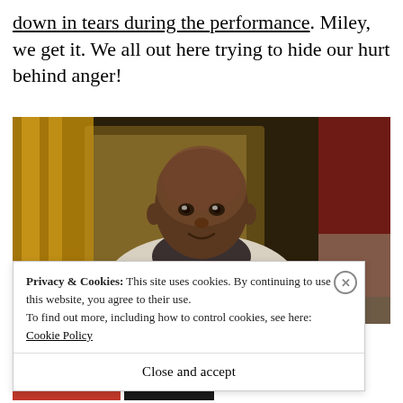down in tears during the performance. Miley, we get it. We all out here trying to hide our hurt behind anger!
[Figure (photo): A man in a patterned coat and scarf seated indoors with golden curtains and warm lighting in the background]
Privacy & Cookies: This site uses cookies. By continuing to use this website, you agree to their use.
To find out more, including how to control cookies, see here: Cookie Policy
Close and accept